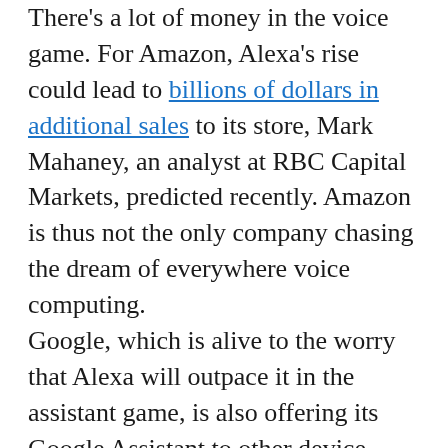There's a lot of money in the voice game. For Amazon, Alexa's rise could lead to billions of dollars in additional sales to its store, Mark Mahaney, an analyst at RBC Capital Markets, predicted recently. Amazon is thus not the only company chasing the dream of everywhere voice computing. Google, which is alive to the worry that Alexa will outpace it in the assistant game, is also offering its Google Assistant to other device makers. Though Amazon remains the leader in the business, there's some evidence that Google's devices gained market share over the holidays. (Apple, which just released a $349 smart speaker, HomePod, does not seem to be aiming for voice ubiquity.) The emerging platform war between